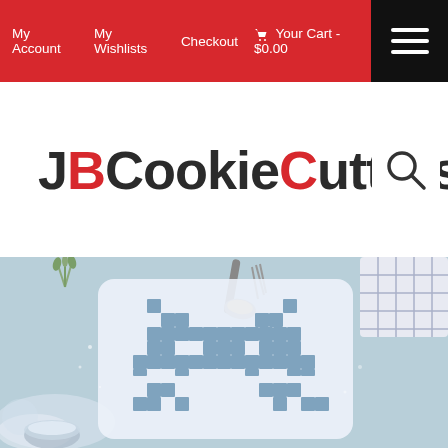My Account   My Wishlists   Checkout   Your Cart - $0.00
JBCookieCutters
[Figure (photo): Hero image showing a space invader pixel art cookie stencil on a light blue baking background, with a spoon of sugar, a kitchen towel, flour dust, and small plant sprigs.]